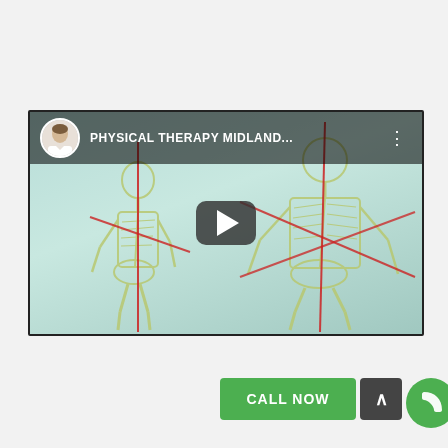[Figure (screenshot): YouTube video thumbnail showing physical therapy content titled 'PHYSICAL THERAPY MIDLAND...' with two skeleton figures side by side showing posture alignment with red lines, a play button in the center, and a doctor avatar in the top-left corner. At the bottom are UI buttons: a green 'CALL NOW' button, a dark up-arrow button, and a green phone icon button.]